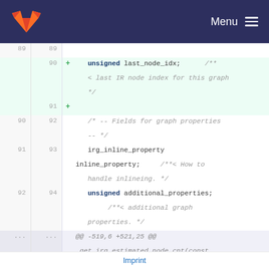Menu
[Figure (screenshot): GitLab code diff view showing additions to a C/C++ struct. Lines 90-91 are new (added), showing 'unsigned last_node_idx;' with doxygen comment, and an empty added line. Lines 90-94 show existing code for irg_inline_property and unsigned additional_properties. A hunk header shows @@ -519,6 +521,25 @@ _get_irg_estimated_node_cnt(const ir_graph *irg) {. Lines 519-521 show 'return irg->estimated_node_count;', '}', and an empty line.]
Imprint